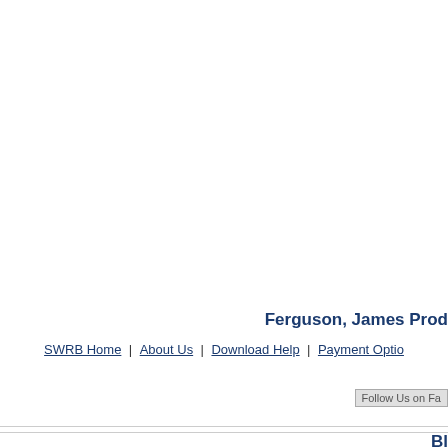Ferguson, James Prod
SWRB Home | About Us | Download Help | Payment Optio...
[Figure (other): Follow Us on Facebook social media button (partially visible)]
Bl...